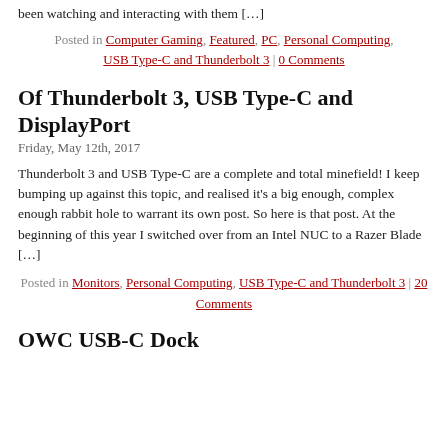been watching and interacting with them […]
Posted in Computer Gaming, Featured, PC, Personal Computing, USB Type-C and Thunderbolt 3 | 0 Comments
Of Thunderbolt 3, USB Type-C and DisplayPort
Friday, May 12th, 2017
Thunderbolt 3 and USB Type-C are a complete and total minefield! I keep bumping up against this topic, and realised it's a big enough, complex enough rabbit hole to warrant its own post. So here is that post. At the beginning of this year I switched over from an Intel NUC to a Razer Blade […]
Posted in Monitors, Personal Computing, USB Type-C and Thunderbolt 3 | 20 Comments
OWC USB-C Dock